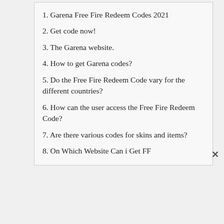1. Garena Free Fire Redeem Codes 2021
2. Get code now!
3. The Garena website.
4. How to get Garena codes?
5. Do the Free Fire Redeem Code vary for the different countries?
6. How can the user access the Free Fire Redeem Code?
7. Are there various codes for skins and items?
8. On Which Website Can i Get FF